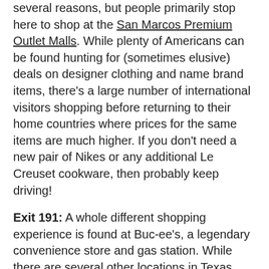several reasons, but people primarily stop here to shop at the San Marcos Premium Outlet Malls. While plenty of Americans can be found hunting for (sometimes elusive) deals on designer clothing and name brand items, there's a large number of international visitors shopping before returning to their home countries where prices for the same items are much higher. If you don't need a new pair of Nikes or any additional Le Creuset cookware, then probably keep driving!
Exit 191: A whole different shopping experience is found at Buc-ee's, a legendary convenience store and gas station. While there are several other locations in Texas, this one was proclaimed the largest convenience store in the world in 2019. It is 68,000 sq. ft. (6,317 sq. m.) and offers 120 gas pumps, 83 bathroom stalls, and 1,000 parking spots. The iconic Buc-ee's Beaver on the sign has become an unofficial